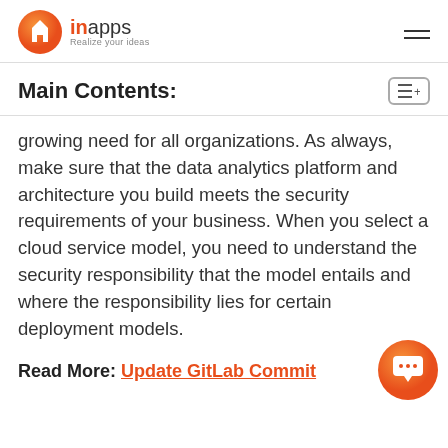inapps — Realize your ideas
Main Contents:
growing need for all organizations. As always, make sure that the data analytics platform and architecture you build meets the security requirements of your business. When you select a cloud service model, you need to understand the security responsibility that the model entails and where the responsibility lies for certain deployment models.
Read More: Update GitLab Commit